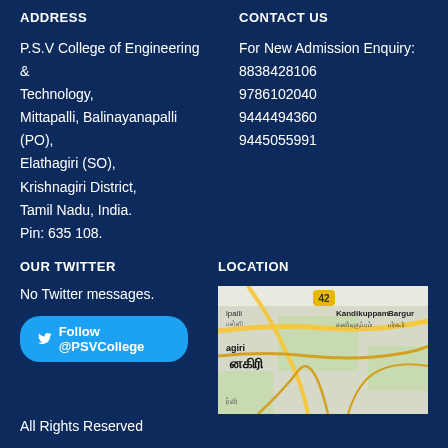ADDRESS
P.S.V College of Engineering & Technology,
Mittapalli, Balinayanapalli (PO),
Elathagiri (SO),
Krishnagiri District,
Tamil Nadu, India.
Pin: 635 108.
CONTACT US
For New Admission Enquiry:
8838428106
9786102040
9444494360
9445055991
OUR TWITTER
No Twitter messages.
Follow @PSVCollege
LOCATION
[Figure (map): Google map showing location near Elathagiri/Krishnagiri area, showing roads, Kandikuppam, Bargur, and Tamil place names]
All Rights Reserved